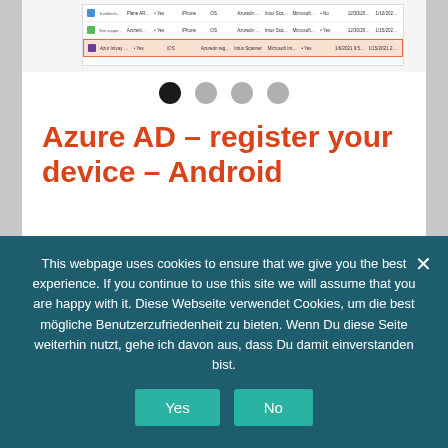[Figure (screenshot): Screenshot of a software interface showing a table/list with rows of data. One row is highlighted with an orange/red border.]
[Figure (other): Carousel navigation dots — four circles, the first (leftmost) is dark/active and the remaining three are gray.]
Azure AD – register your device – Android
The process for Android is pretty much the same as for iOS – so no need to fill up this
This webpage uses cookies to ensure that we give you the best experience. If you continue to use this site we will assume that you are happy with it. Diese Webseite verwendet Cookies, um die best mögliche Benutzerzufriedenheit zu bieten. Wenn Du diese Seite weiterhin nutzt, gehe ich davon aus, dass Du damit einverstanden bist.